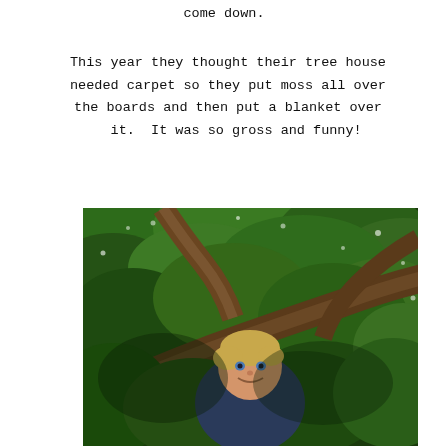come down.
This year they thought their tree house needed carpet so they put moss all over the boards and then put a blanket over it.  It was so gross and funny!
[Figure (photo): A young blonde boy smiling up at the camera while sitting among tree branches and dense green leaves in a tree house.]